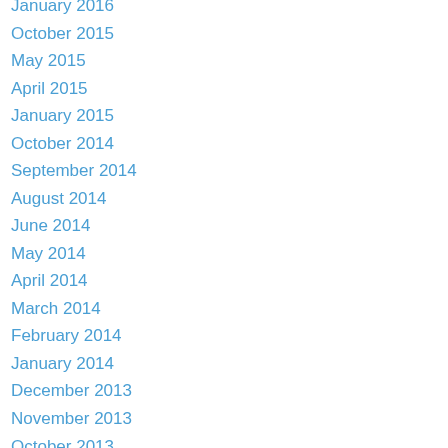January 2016
October 2015
May 2015
April 2015
January 2015
October 2014
September 2014
August 2014
June 2014
May 2014
April 2014
March 2014
February 2014
January 2014
December 2013
November 2013
October 2013
September 2013
August 2013
July 2013
June 2013